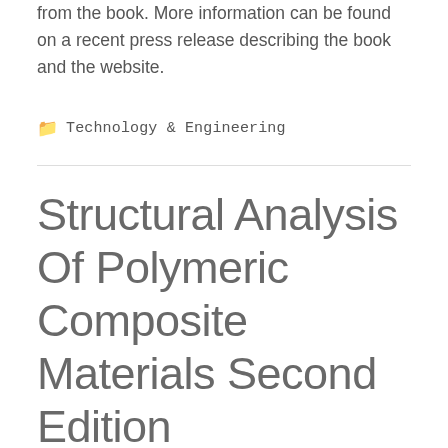from the book. More information can be found on a recent press release describing the book and the website.
Technology & Engineering
Structural Analysis Of Polymeric Composite Materials Second Edition